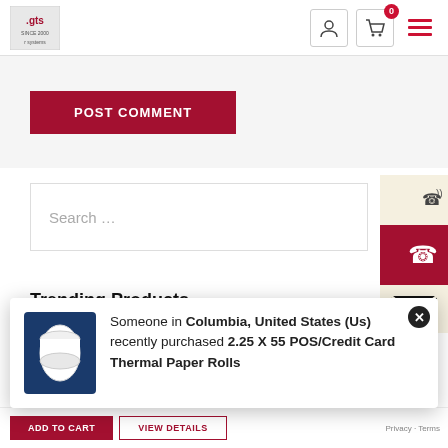[Figure (logo): GTS logo in top-left header]
[Figure (screenshot): User account icon, cart icon with 0 badge, hamburger menu icon in header]
[Figure (screenshot): POST COMMENT button in red/dark red]
Search …
[Figure (illustration): Phone contact icon (red background) and email icon (beige background) on right side]
Trending Products
[Figure (screenshot): Partial product listing with dark blue bar and Mobile Printer Rolls text]
Someone in Columbia, United States (Us) recently purchased 2.25 X 55 POS/Credit Card Thermal Paper Rolls
[Figure (photo): Thermal paper roll product image on dark blue background]
[Figure (screenshot): ADD TO CART and VIEW DETAILS buttons at bottom]
Privacy · Terms